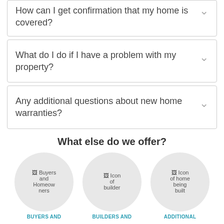How can I get confirmation that my home is covered?
What do I do if I have a problem with my property?
Any additional questions about new home warranties?
What else do we offer?
[Figure (illustration): Three circular icons: Buyers and Homeowners, Icon of builder, Icon of home being built]
BUYERS AND    BUILDERS AND    ADDITIONAL